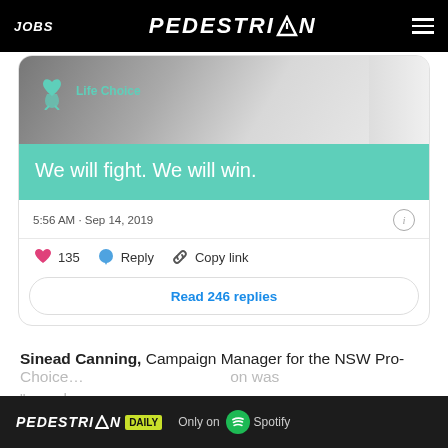JOBS  PEDESTRIAN  [hamburger menu]
[Figure (screenshot): Tweet card screenshot showing a Life Choice campaign image with teal background and text 'We will fight. We will win.' with timestamp 5:56 AM · Sep 14, 2019, 135 likes, Reply, Copy link buttons, and 'Read 246 replies' button]
Sinead Canning, Campaign Manager for the NSW Pro-Choice...
Choice... on was "compl...
[Figure (logo): Pedestrian Daily - Only on Spotify advertisement banner at bottom of screen]